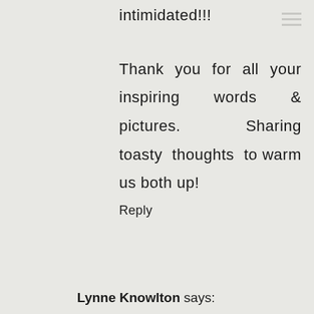intimidated!!!
Thank you for all your inspiring words & pictures. Sharing toasty thoughts to warm us both up!
Reply
Lynne Knowlton says: